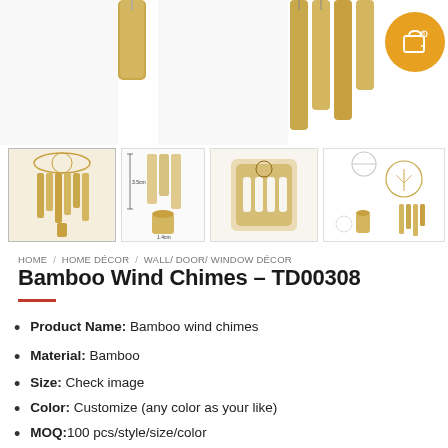[Figure (photo): Product images of bamboo wind chimes: main hero shots at top showing bamboo tubes hanging, and a row of thumbnail images showing different views and dimensions of the product. An orange circular cart button is in the top-right corner.]
HOME / HOME DÉCOR / WALL/ DOOR/ WINDOW DÉCOR
Bamboo Wind Chimes – TD00308
Product Name: Bamboo wind chimes
Material:  Bamboo
Size: Check image
Color: Customize (any color as your like)
MOQ:100 pcs/style/size/color